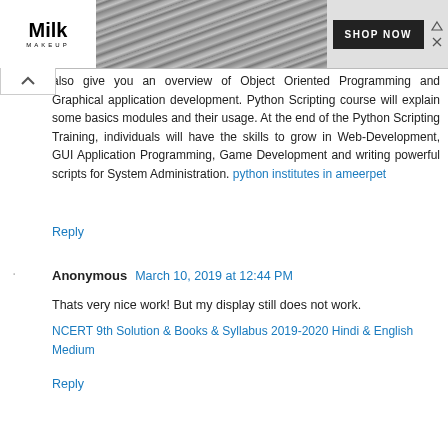[Figure (other): Advertisement banner for Milk Makeup showing logo, pencils/makeup brushes image, and Shop Now button]
also give you an overview of Object Oriented Programming and Graphical application development. Python Scripting course will explain some basics modules and their usage. At the end of the Python Scripting Training, individuals will have the skills to grow in Web-Development, GUI Application Programming, Game Development and writing powerful scripts for System Administration. python institutes in ameerpet
Reply
Anonymous March 10, 2019 at 12:44 PM
Thats very nice work! But my display still does not work.
NCERT 9th Solution & Books & Syllabus 2019-2020 Hindi & English Medium
Reply